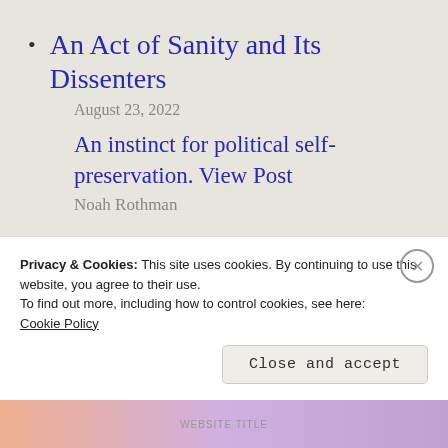An Act of Sanity and Its Dissenters
August 23, 2022
An instinct for political self-preservation. View Post
Noah Rothman
That's a Lot of Money
Privacy & Cookies: This site uses cookies. By continuing to use this website, you agree to their use.
To find out more, including how to control cookies, see here:
Cookie Policy
Close and accept